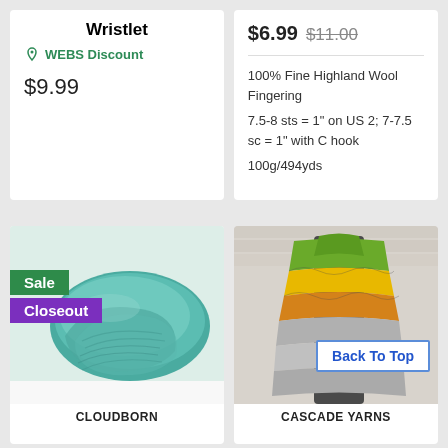Wristlet
WEBS Discount
$9.99
$6.99 $11.00
100% Fine Highland Wool Fingering
7.5-8 sts = 1" on US 2; 7-7.5 sc = 1" with C hook
100g/494yds
[Figure (photo): Teal yarn skein (Cloudborn) with Sale and Closeout badges]
CLOUDBORN
[Figure (photo): Colorful striped knitted shawl on mannequin (Cascade Yarns) with Back To Top button]
CASCADE YARNS